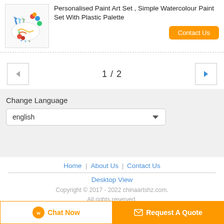[Figure (photo): Thumbnail image of a paint art set with brushes and colorful elements on white background]
Personalised Paint Art Set , Simple Watercolour Paint Set With Plastic Palette
Contact Us
1 / 2
Change Language
english
Home | About Us | Contact Us
Desktop View
Copyright © 2017 - 2022 chinaartshz.com. All rights reserved.
Chat Now
Request A Quote